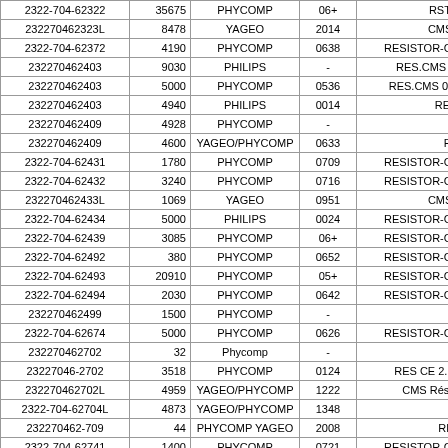| Part Number | Qty | Manufacturer | Date | Description |
| --- | --- | --- | --- | --- |
| 2322-704-62322 | 35675 | PHYCOMP | 06+ | RST CHIP 2 |
| 232270462323L | 8478 | YAGEO | 2014 | CMS Résist. |
| 2322-704-62372 | 4190 | PHYCOMP | 0638 | RESISTOR-CHIP*TH |
| 232270462403 | 9030 | PHILIPS | - | RES.CMS 0603 24 |
| 232270462403 | 5000 | PHYCOMP | 0536 | RES.CMS 0603 24K |
| 232270462403 | 4940 | PHILIPS | 0014 | RESISTAN |
| 232270462409 | 4928 | PHYCOMP | - | Resista |
| 232270462409 | 4600 | YAGEO/PHYCOMP | 0633 | RES 24K |
| 2322-704-62431 | 1780 | PHYCOMP | 0709 | RESISTOR-CHIP*TH |
| 2322-704-62432 | 3240 | PHYCOMP | 0716 | RESISTOR-CHIP*TH |
| 232270462433L | 1069 | YAGEO | 0951 | CMS Résist. |
| 2322-704-62434 | 5000 | PHILIPS | 0024 | RESISTOR-CHIP*TH |
| 2322-704-62439 | 3085 | PHYCOMP | 06+ | RESISTOR-CHIP*TH |
| 2322-704-62492 | 380 | PHYCOMP | 0652 | RESISTOR-CHIP*TH |
| 2322-704-62493 | 20910 | PHYCOMP | 05+ | RESISTOR-CHIP*TH |
| 2322-704-62494 | 2030 | PHYCOMP | 0642 | RESISTOR-CHIP*TH |
| 232270462499 | 1500 | PHYCOMP | - | Resista |
| 2322-704-62674 | 5000 | PHYCOMP | 0626 | RESISTOR-CHIP*TH |
| 232270462702 | 32 | Phycomp | - | Resistor |
| 23227046-2702 | 3518 | PHYCOMP | 0124 | RES CE 2.7K 1% 0 |
| 232270462702L | 4959 | YAGEO/PHYCOMP | 1222 | CMS Résist. 2.7K |
| 2322-704-62704L | 4873 | YAGEO/PHYCOMP | 1348 | RESIS |
| 232270462-709 | 44 | PHYCOMP YAGEO | 2008 | RM0603 2 |
| 2322-704-62741 | 1400 | PHYCOMP | 0721 | RESISTOR-CHIP*TH |
| 2322-704-62742 | 3624 | YAGEO/PHYCOMP | 0915 | CMS Résist. |
| 2322-7046-2742 | 21990 | PHYCOMP | 06+ | RESISTOR-CHIP*TH |
| 2322-704-62742L | 4340 | YAGEO/PHYCOMP | 13 | RES 2.74 |
| 2322-704-62743 | 67515 | PHYCOMP | 05+ | RESISTOR-CHIP*TH |